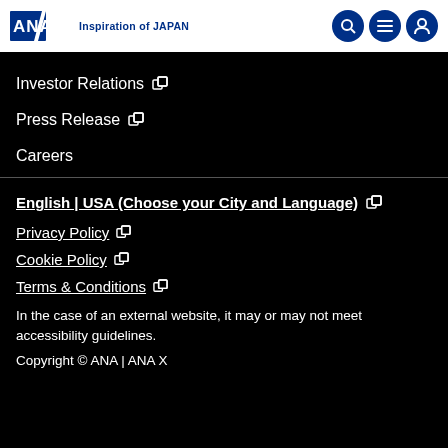ANA | Inspiration of JAPAN
Investor Relations
Press Release
Careers
English | USA (Choose your City and Language)
Privacy Policy
Cookie Policy
Terms & Conditions
In the case of an external website, it may or may not meet accessibility guidelines.
Copyright © ANA | ANA X